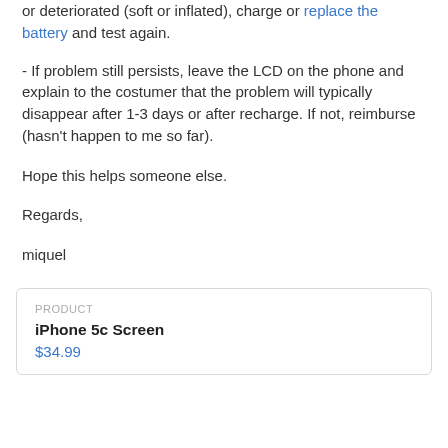If problem still remains unresolved and the battery is low or deteriorated (soft or inflated), charge or replace the battery and test again.
- If problem still persists, leave the LCD on the phone and explain to the costumer that the problem will typically disappear after 1-3 days or after recharge. If not, reimburse (hasn't happen to me so far).
Hope this helps someone else.
Regards,
miquel
| PRODUCT | iPhone 5c Screen | $34.99 |
| --- | --- | --- |